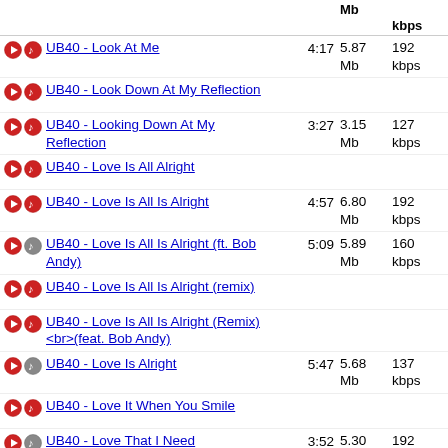UB40 - Look At Me | 4:17 | 5.87 Mb | 192 kbps
UB40 - Look Down At My Reflection
UB40 - Looking Down At My Reflection | 3:27 | 3.15 Mb | 127 kbps
UB40 - Love Is All Alright
UB40 - Love Is All Is Alright | 4:57 | 6.80 Mb | 192 kbps
UB40 - Love Is All Is Alright (ft. Bob Andy) | 5:09 | 5.89 Mb | 160 kbps
UB40 - Love Is All Is Alright (remix)
UB40 - Love Is All Is Alright (Remix) <br>(feat. Bob Andy)
UB40 - Love Is Alright | 5:47 | 5.68 Mb | 137 kbps
UB40 - Love It When You Smile
UB40 - Love That I Need | 3:52 | 5.30 Mb | 192 kbps
UB40 - Lyric Officer
UB40 - Lyric Officer<br>(feat. Dillinger)
UB40 - Madam Medusa
UB40 - Madam Medusa | 16.57 | 179